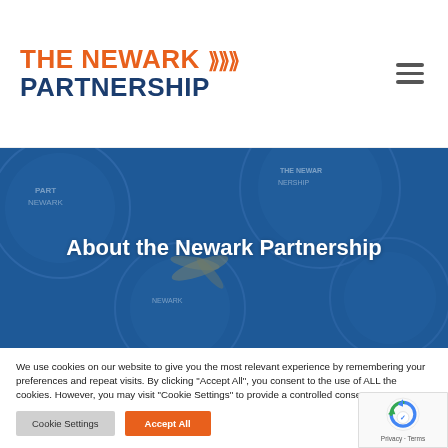[Figure (logo): The Newark Partnership logo with orange 'THE NEWARK' text, orange arrow chevrons, and dark blue 'PARTNERSHIP' text]
[Figure (illustration): Hero banner with blue overlay showing Newark Partnership badge/pin buttons, with centered white text 'About the Newark Partnership']
About the Newark Partnership
We use cookies on our website to give you the most relevant experience by remembering your preferences and repeat visits. By clicking "Accept All", you consent to the use of ALL the cookies. However, you may visit "Cookie Settings" to provide a controlled consent.
Cookie Settings | Accept All